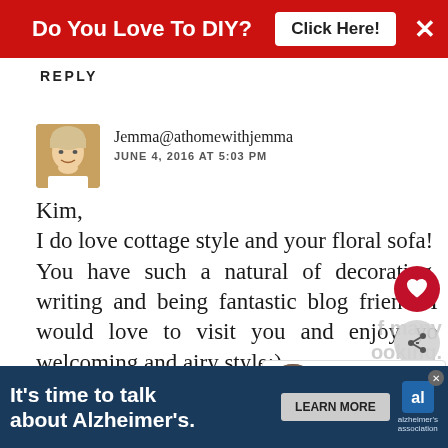Do You Love To DIY? Click Here!
REPLY
Jemma@athomewithjemma
JUNE 4, 2016 AT 5:03 PM
Kim,
I do love cottage style and your floral sofa!
You have such a natural of decorating, writing and being fantastic blog friend. I would love to visit you and enjoy yo welcoming and airy style:)
[Figure (infographic): What's Next arrow promo: Cottage Style Family Room]
It's time to talk about Alzheimer's. LEARN MORE